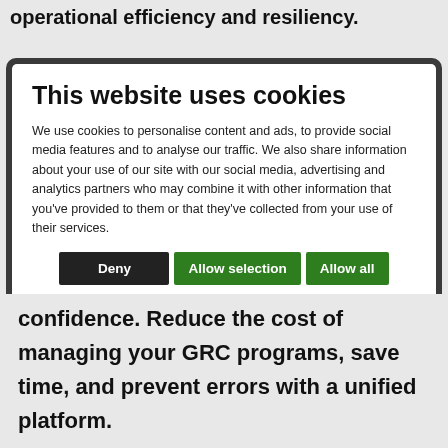operational efficiency and resiliency.
[Figure (screenshot): Cookie consent modal dialog with title 'This website uses cookies', body text about cookie usage, three buttons (Deny, Allow selection, Allow all), and checkboxes for Necessary, Preferences, Statistics, Marketing with a Show details dropdown.]
confidence. Reduce the cost of managing your GRC programs, save time, and prevent errors with a unified platform.